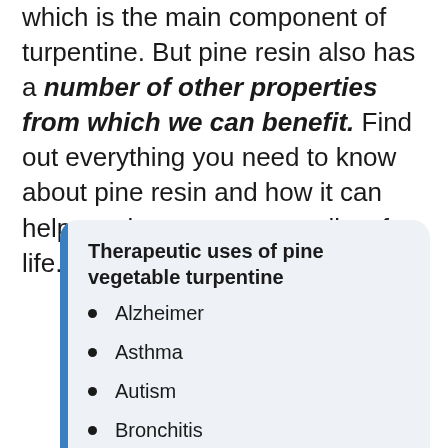which is the main component of turpentine. But pine resin also has a number of other properties from which we can benefit. Find out everything you need to know about pine resin and how it can help you improve your quality of life.
Therapeutic uses of pine vegetable turpentine
Alzheimer
Asthma
Autism
Bronchitis
Cancer